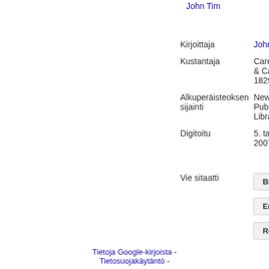John Tim
| Kirjoittaja | John Tim |
| Kustantaja | Carey, L & Carey, 1829 |
| Alkuperäisteoksen sijainti | New York Public Library |
| Digitoitu | 5. tammi 2007 |
| Vie sitaatti | BiBTe / EndNo / RefMa |
Tietoja Google-kirjoista - Tietosuojakäytäntö -